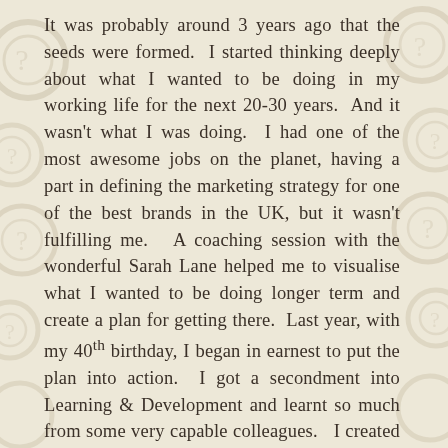It was probably around 3 years ago that the seeds were formed. I started thinking deeply about what I wanted to be doing in my working life for the next 20-30 years. And it wasn't what I was doing. I had one of the most awesome jobs on the planet, having a part in defining the marketing strategy for one of the best brands in the UK, but it wasn't fulfilling me. A coaching session with the wonderful Sarah Lane helped me to visualise what I wanted to be doing longer term and create a plan for getting there. Last year, with my 40th birthday, I began in earnest to put the plan into action. I got a secondment into Learning & Development and learnt so much from some very capable colleagues. I created the opportunity to work with Imparta on designing & delivering training. I was so lucky to be able to work side by side with, and get advice